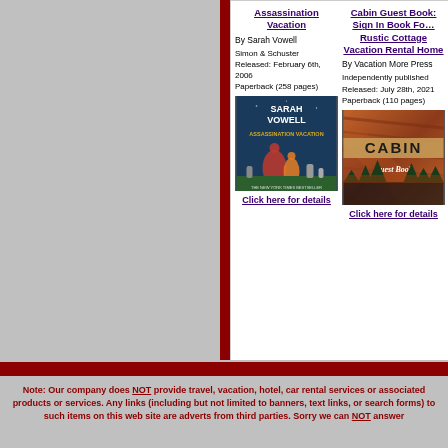Assassination Vacation
By Sarah Vowell
Simon & Schuster
Released: February 6th, 2006
Paperback (258 pages)
[Figure (illustration): Book cover of Assassination Vacation by Sarah Vowell]
Click here for details
Cabin Guest Book: Sign In Book For Rustic Cottage Vacation Rental Home
By Vacation More Press
Independently published
Released: July 28th, 2021
Paperback (110 pages)
[Figure (illustration): Book cover of Cabin Guest Book with wooden background and pine trees]
Click here for details
Note: Our company does NOT provide travel, vacation, hotel, car rental services or associated products or services. Any links (including but not limited to banners, text links, or search forms) to such items on this web site are adverts from third parties. Sorry we can NOT answer